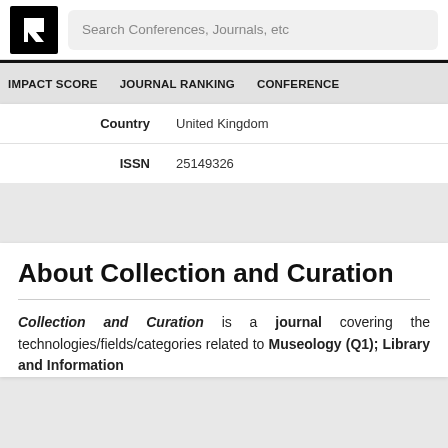[Figure (logo): Research journal ranking site logo — black square with white arrow/K symbol]
Search Conferences, Journals, etc
IMPACT SCORE   JOURNAL RANKING   CONFERENCE
| Field | Value |
| --- | --- |
| Country | United Kingdom |
| ISSN | 25149326 |
About Collection and Curation
Collection and Curation is a journal covering the technologies/fields/categories related to Museology (Q1); Library and Information